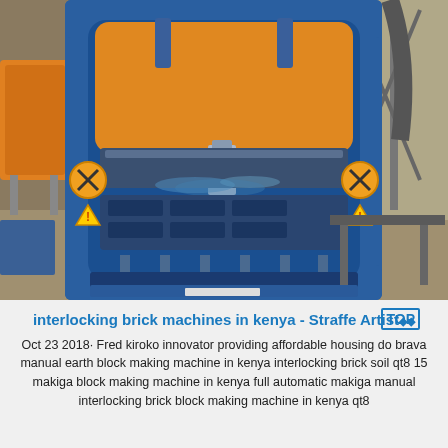[Figure (photo): A large blue industrial interlocking brick / block making machine photographed in a warehouse or factory setting. The machine has a prominent blue metal frame with an orange/amber hydraulic press plate visible at the top interior. Orange warning symbols (circles with diagonal lines and exclamation triangles) are visible on the sides. The lower portion shows the block-forming molds and mechanical components. Other industrial equipment and a corrugated metal building are visible in the background.]
interlocking brick machines in kenya - Straffe Artist
Oct 23 2018· Fred kiroko innovator providing affordable housing do brava manual earth block making machine in kenya interlocking brick soil qt8 15 makiga block making machine in kenya full automatic makiga manual interlocking brick block making machine in kenya qt8